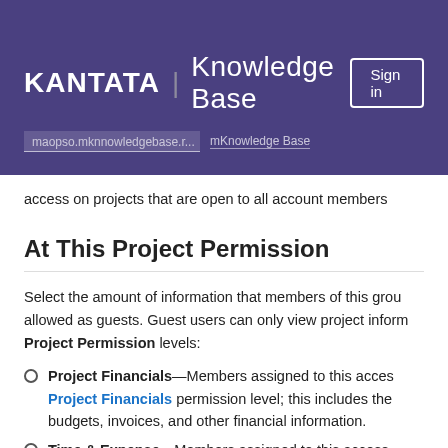KANTATA | Knowledge Base — Sign in
access on projects that are open to all account members
At This Project Permission
Select the amount of information that members of this group are allowed as guests. Guest users can only view project information. Project Permission levels:
Project Financials—Members assigned to this access level can view Project Financials permission level; this includes the budgets, invoices, and other financial information.
Time & Expense—Members assigned to this access